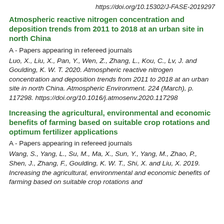https://doi.org/10.15302/J-FASE-2019297
Atmospheric reactive nitrogen concentration and deposition trends from 2011 to 2018 at an urban site in north China
A - Papers appearing in refereed journals
Luo, X., Liu, X., Pan, Y., Wen, Z., Zhang, L., Kou, C., Lv, J. and Goulding, K. W. T. 2020. Atmospheric reactive nitrogen concentration and deposition trends from 2011 to 2018 at an urban site in north China. Atmospheric Environment. 224 (March), p. 117298. https://doi.org/10.1016/j.atmosenv.2020.117298
Increasing the agricultural, environmental and economic benefits of farming based on suitable crop rotations and optimum fertilizer applications
A - Papers appearing in refereed journals
Wang, S., Yang, L., Su, M., Ma, X., Sun, Y., Yang, M., Zhao, P., Shen, J., Zhang, F., Goulding, K. W. T., Shi, X. and Liu, X. 2019. Increasing the agricultural, environmental and economic benefits of farming based on suitable crop rotations and